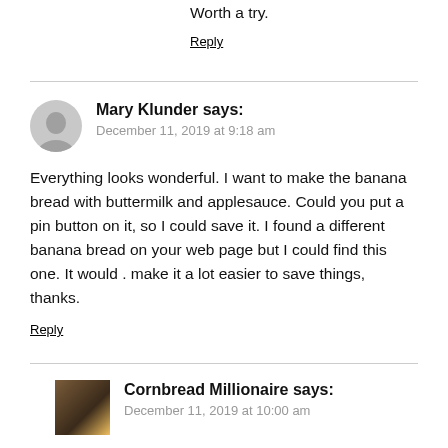Worth a try.
Reply
Mary Klunder says:
December 11, 2019 at 9:18 am
Everything looks wonderful. I want to make the banana bread with buttermilk and applesauce. Could you put a pin button on it, so I could save it. I found a different banana bread on your web page but I could find this one. It would . make it a lot easier to save things, thanks.
Reply
Cornbread Millionaire says:
December 11, 2019 at 10:00 am